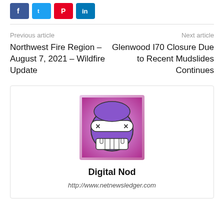[Figure (other): Social media share buttons: Facebook (blue), Twitter (cyan), Pinterest (red), LinkedIn (blue)]
Previous article
Next article
Northwest Fire Region – August 7, 2021 – Wildfire Update
Glenwood I70 Closure Due to Recent Mudslides Continues
[Figure (illustration): Author avatar: purple angry emoji face with fangs on pink/purple gradient background]
Digital Nod
http://www.netnewsledger.com